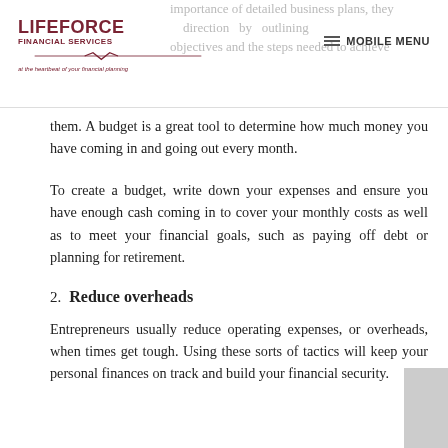LIFEFORCE FINANCIAL SERVICES — at the heartbeat of your financial planning | MOBILE MENU
importance of detailed business plans, they direction by outlining objectives and the steps needed to achieve them. A budget is a great tool to determine how much money you have coming in and going out every month.
To create a budget, write down your expenses and ensure you have enough cash coming in to cover your monthly costs as well as to meet your financial goals, such as paying off debt or planning for retirement.
2. Reduce overheads
Entrepreneurs usually reduce operating expenses, or overheads, when times get tough. Using these sorts of tactics will keep your personal finances on track and build your financial security.